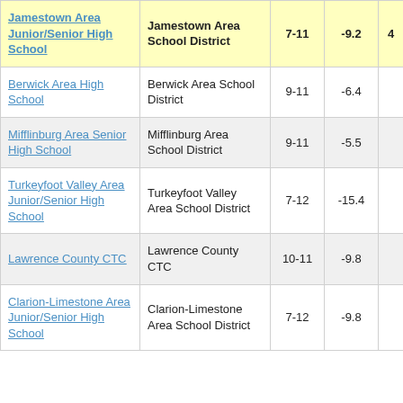| School | District | Grades | Value |  |
| --- | --- | --- | --- | --- |
| Jamestown Area Junior/Senior High School | Jamestown Area School District | 7-11 | -9.2 | 4 |
| Berwick Area High School | Berwick Area School District | 9-11 | -6.4 |  |
| Mifflinburg Area Senior High School | Mifflinburg Area School District | 9-11 | -5.5 |  |
| Turkeyfoot Valley Area Junior/Senior High School | Turkeyfoot Valley Area School District | 7-12 | -15.4 |  |
| Lawrence County CTC | Lawrence County CTC | 10-11 | -9.8 |  |
| Clarion-Limestone Area Junior/Senior High School | Clarion-Limestone Area School District | 7-12 | -9.8 |  |